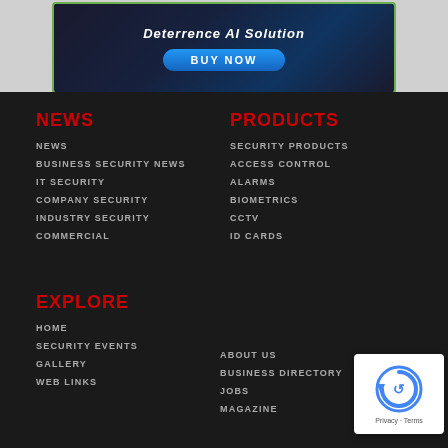[Figure (photo): Advertisement banner with dark blue background showing 'Deterrence AI Solution' text and a BUY NOW button, bordered in green]
NEWS
NEWS
BUSINESS SECURITY NEWS
IT SECURITY
COMPANY SECURITY
INDUSTRY SECURITY
COMMERCIAL
PRODUCTS
SECURITY PRODUCTS
ACCESS CONTROL
ALARMS
BIOMETRICS
CCTV
ID CARDS
EXPLORE
HOME
SECURITY EVENTS
GALLERY
WEB LINKS
ABOUT US
BUSINESS DIRECTORY
JOBS
MAGAZINE